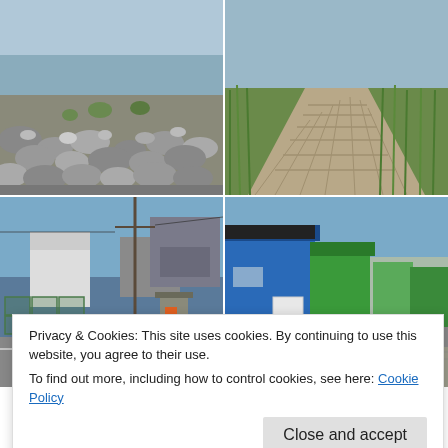[Figure (photo): Four-photo grid: top-left shows rocky shoreline with stones and vegetation; top-right shows a wooden boardwalk through green marsh grass; bottom-left shows fishing village street with lobster traps and small orange-doored shed; bottom-right shows colorful blue and green fishing huts along a paved street.]
Just like everywhere else we'd been, you could taste the sea on the air. My favourite part of Dartmouth/Halifax was the interaction of the sea with everyday life. It was somewhere already in the planning stages even before the pandemic, and grateful for the
Privacy & Cookies: This site uses cookies. By continuing to use this website, you agree to their use.
To find out more, including how to control cookies, see here: Cookie Policy
Close and accept